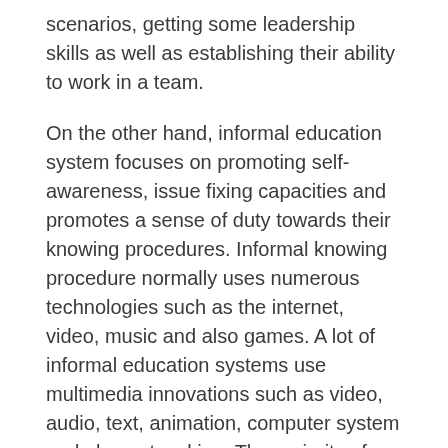scenarios, getting some leadership skills as well as establishing their ability to work in a team.
On the other hand, informal education system focuses on promoting self-awareness, issue fixing capacities and promotes a sense of duty towards their knowing procedures. Informal knowing procedure normally uses numerous technologies such as the internet, video, music and also games. A lot of informal education systems use multimedia innovations such as video, audio, text, animation, computer system and also networking. The majority of casual education and learning systems do not include any type of kind of classroom conversations and also tasks.
Informal education and learning system differs from a formal one, in that it generally does not entail any type of class discussions, formal mentor, grading or